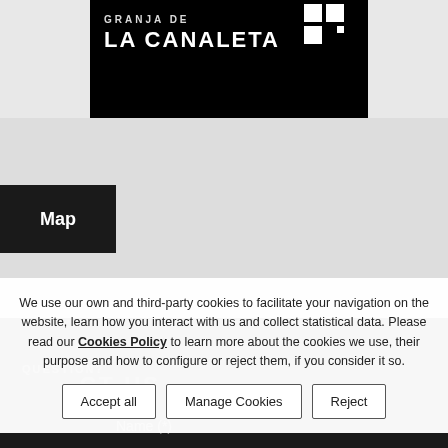[Figure (logo): LA CANALETA logo with black background, white bold text and a geometric H-like icon in the top right corner]
Map
[Figure (map): Gray map area showing a street map]
We use our own and third-party cookies to facilitate your navigation on the website, learn how you interact with us and collect statistical data. Please read our Cookies Policy to learn more about the cookies we use, their purpose and how to configure or reject them, if you consider it so.
Accept all
Manage Cookies
Reject
QUESTION?
CT US
Name (*)